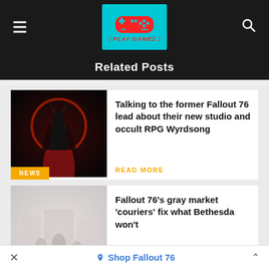Play Gamez — navigation header
Related Posts
[Figure (photo): Dark fantasy character with horns and long dark hair, red glowing circle behind them against a dark background. NEWS badge overlay.]
Talking to the former Fallout 76 lead about their new studio and occult RPG Wyrdsong
READ MORE
[Figure (photo): Fallout 76 game screenshot showing post-apocalyptic scene with players, faded/desaturated appearance. NEWS badge overlay.]
Fallout 76's gray market 'couriers' fix what Bethesda won't
READ MORE
Shop Fallout 76